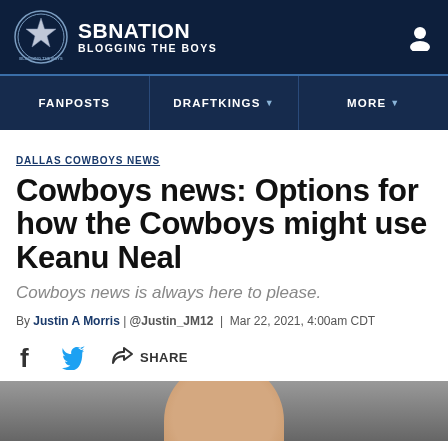SB NATION — BLOGGING THE BOYS
FANPOSTS | DRAFTKINGS | MORE
DALLAS COWBOYS NEWS
Cowboys news: Options for how the Cowboys might use Keanu Neal
Cowboys news is always here to please.
By Justin A Morris | @Justin_JM12 | Mar 22, 2021, 4:00am CDT
SHARE